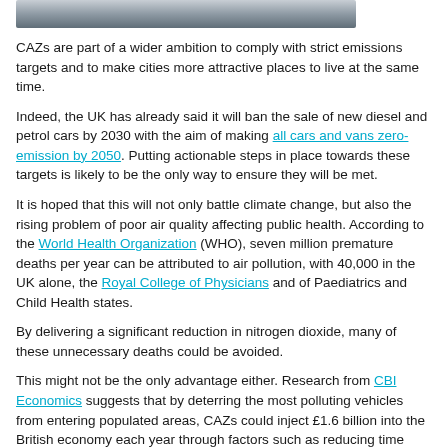[Figure (photo): Partial photo strip at top of page, likely showing a road or vehicle scene, cropped.]
CAZs are part of a wider ambition to comply with strict emissions targets and to make cities more attractive places to live at the same time.
Indeed, the UK has already said it will ban the sale of new diesel and petrol cars by 2030 with the aim of making all cars and vans zero-emission by 2050. Putting actionable steps in place towards these targets is likely to be the only way to ensure they will be met.
It is hoped that this will not only battle climate change, but also the rising problem of poor air quality affecting public health. According to the World Health Organization (WHO), seven million premature deaths per year can be attributed to air pollution, with 40,000 in the UK alone, the Royal College of Physicians and of Paediatrics and Child Health states.
By delivering a significant reduction in nitrogen dioxide, many of these unnecessary deaths could be avoided.
This might not be the only advantage either. Research from CBI Economics suggests that by deterring the most polluting vehicles from entering populated areas, CAZs could inject £1.6 billion into the British economy each year through factors such as reducing time spent off work because of illness.
What will this mean for businesses and fleets?